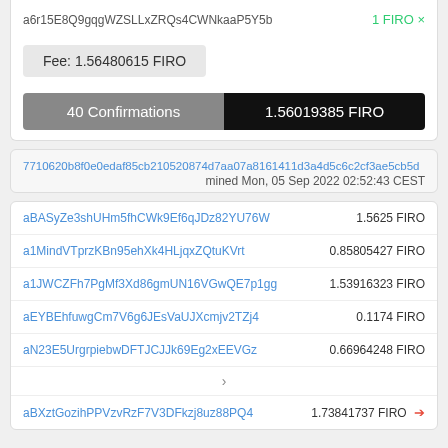a6r15E8Q9gqgWZSLLxZRQs4CWNkaaP5Y5b — 1 FIRO ×
Fee: 1.56480615 FIRO
40 Confirmations — 1.56019385 FIRO
7710620b8f0e0edaf85cb210520874d7aa07a8161411d3a4d5c6c2cf3ae5cb5d
mined Mon, 05 Sep 2022 02:52:43 CEST
| Address | Amount |
| --- | --- |
| aBASyZe3shUHm5fhCWk9Ef6qJDz82YU76W | 1.5625 FIRO |
| a1MindVTprzKBn95ehXk4HLjqxZQtuKVrt | 0.85805427 FIRO |
| a1JWCZFh7PgMf3Xd86gmUN16VGwQE7p1gg | 1.53916323 FIRO |
| aEYBEhfuwgCm7V6g6JEsVaUJXcmjv2TZj4 | 0.1174 FIRO |
| aN23E5UrgrpiebwDFTJCJJk69Eg2xEEVGz | 0.66964248 FIRO |
| › |  |
| aBXztGozihPPVzvRzF7V3DFkzj8uz88PQ4 | 1.73841737 FIRO → |